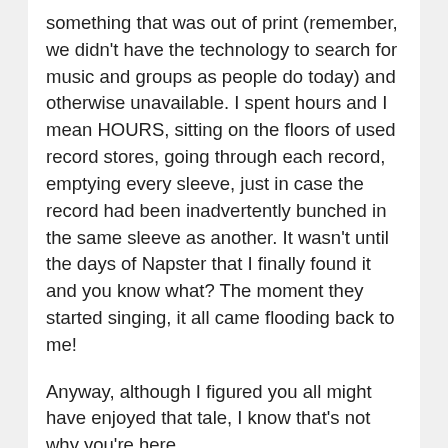something that was out of print (remember, we didn't have the technology to search for music and groups as people do today) and otherwise unavailable. I spent hours and I mean HOURS, sitting on the floors of used record stores, going through each record, emptying every sleeve, just in case the record had been inadvertently bunched in the same sleeve as another. It wasn't until the days of Napster that I finally found it and you know what? The moment they started singing, it all came flooding back to me!
Anyway, although I figured you all might have enjoyed that tale, I know that's not why you're here.
In the next into My Ivor: Fondle This...